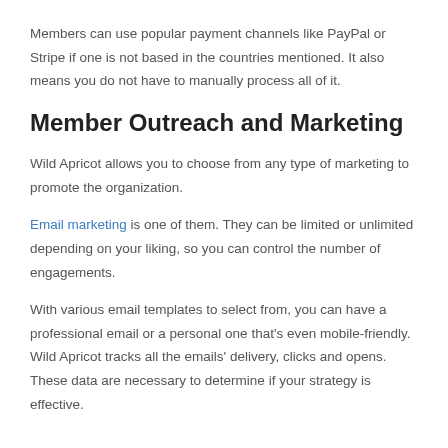Members can use popular payment channels like PayPal or Stripe if one is not based in the countries mentioned. It also means you do not have to manually process all of it.
Member Outreach and Marketing
Wild Apricot allows you to choose from any type of marketing to promote the organization.
Email marketing is one of them. They can be limited or unlimited depending on your liking, so you can control the number of engagements.
With various email templates to select from, you can have a professional email or a personal one that's even mobile-friendly. Wild Apricot tracks all the emails' delivery, clicks and opens. These data are necessary to determine if your strategy is effective.